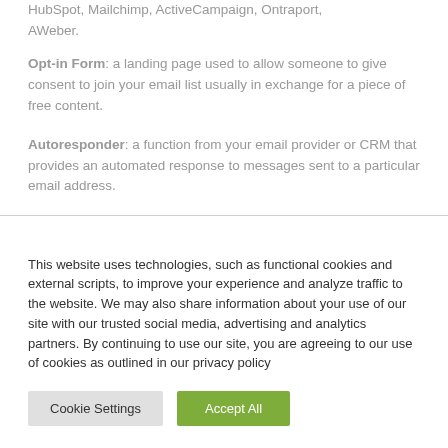HubSpot, Mailchimp, ActiveCampaign, Ontraport, AWeber.
Opt-in Form: a landing page used to allow someone to give consent to join your email list usually in exchange for a piece of free content.
Autoresponder: a function from your email provider or CRM that provides an automated response to messages sent to a particular email address.
This website uses technologies, such as functional cookies and external scripts, to improve your experience and analyze traffic to the website. We may also share information about your use of our site with our trusted social media, advertising and analytics partners. By continuing to use our site, you are agreeing to our use of cookies as outlined in our privacy policy
Cookie Settings | Accept All